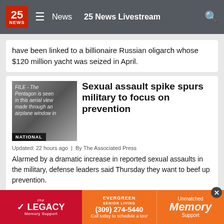25 NEWS | News | 25 News Livestream
have been linked to a billionaire Russian oligarch whose $120 million yacht was seized in April.
[Figure (photo): Aerial view of the Pentagon through airplane window, labeled NATIONAL]
Sexual assault spike spurs military to focus on prevention
Updated: 22 hours ago  |  By The Associated Press
Alarmed by a dramatic increase in reported sexual assaults in the military, defense leaders said Thursday they want to beef up prevention.
[Figure (photo): Pencil on paper, labeled NATIONAL]
Reading, math scores fell sharply during
Updated:
[Figure (other): Advertisement banner: The Legacy Memory Support, Evergreen Senior Living (309) 274-5440, Unmatched Memory Support]